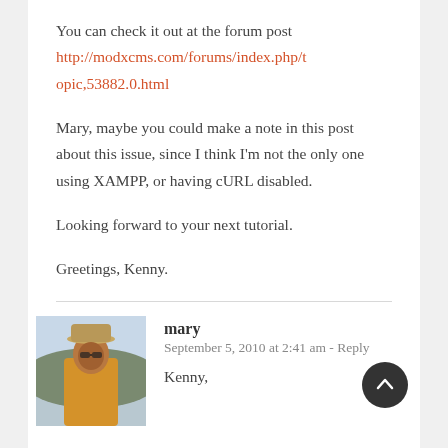You can check it out at the forum post http://modxcms.com/forums/index.php/topic,53882.0.html
Mary, maybe you could make a note in this post about this issue, since I think I'm not the only one using XAMPP, or having cURL disabled.
Looking forward to your next tutorial.
Greetings, Kenny.
mary
September 5, 2010 at 2:41 am - Reply
Kenny,